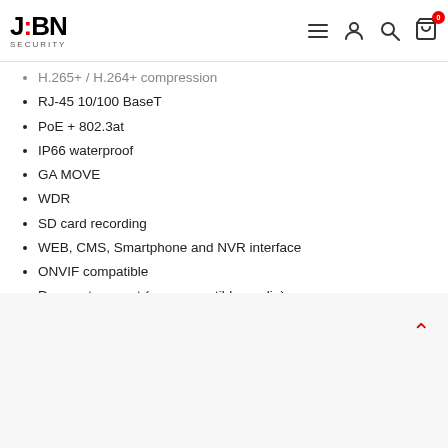JBN Security - navigation header with menu, user, search, cart icons
H.265+ / H.264+ compression
RJ-45 10/100 BaseT
PoE + 802.3at
IP66 waterproof
GA MOVE
WDR
SD card recording
WEB, CMS, Smartphone and NVR interface
ONVIF compatible
Does not support (see compatible media)